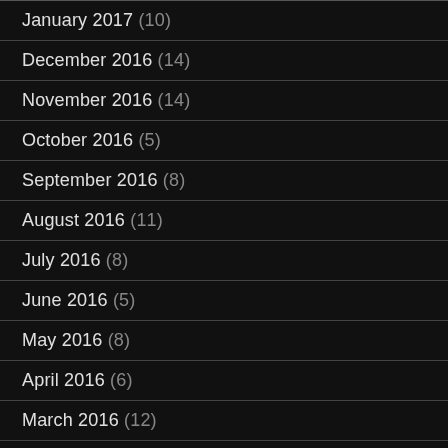January 2017 (10)
December 2016 (14)
November 2016 (14)
October 2016 (5)
September 2016 (8)
August 2016 (11)
July 2016 (8)
June 2016 (5)
May 2016 (8)
April 2016 (6)
March 2016 (12)
February 2016 (9)